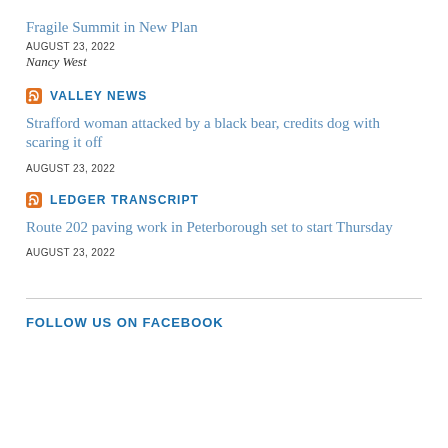Fragile Summit in New Plan
AUGUST 23, 2022
Nancy West
VALLEY NEWS
Strafford woman attacked by a black bear, credits dog with scaring it off
AUGUST 23, 2022
LEDGER TRANSCRIPT
Route 202 paving work in Peterborough set to start Thursday
AUGUST 23, 2022
FOLLOW US ON FACEBOOK